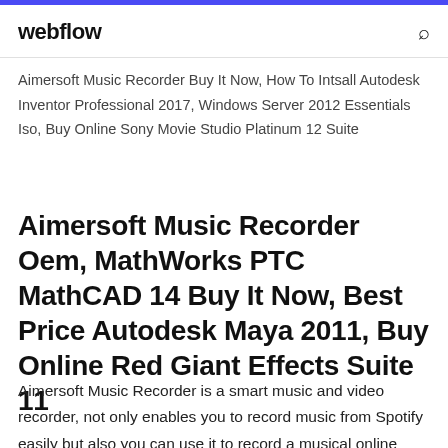webflow
Aimersoft Music Recorder Buy It Now, How To Intsall Autodesk Inventor Professional 2017, Windows Server 2012 Essentials Iso, Buy Online Sony Movie Studio Platinum 12 Suite
Aimersoft Music Recorder Oem, MathWorks PTC MathCAD 14 Buy It Now, Best Price Autodesk Maya 2011, Buy Online Red Giant Effects Suite 11
Aimersoft Music Recorder is a smart music and video recorder, not only enables you to record music from Spotify easily but also you can use it to record a musical online content. You can